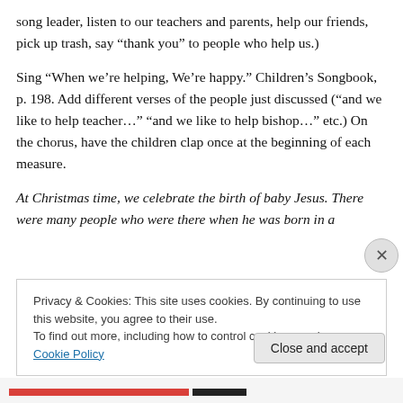song leader, listen to our teachers and parents, help our friends, pick up trash, say “thank you” to people who help us.)
Sing “When we’re helping, We’re happy.” Children’s Songbook, p. 198. Add different verses of the people just discussed (“and we like to help teacher…” “and we like to help bishop…” etc.) On the chorus, have the children clap once at the beginning of each measure.
At Christmas time, we celebrate the birth of baby Jesus. There were many people who were there when he was born in a
Privacy & Cookies: This site uses cookies. By continuing to use this website, you agree to their use.
To find out more, including how to control cookies, see here: Cookie Policy